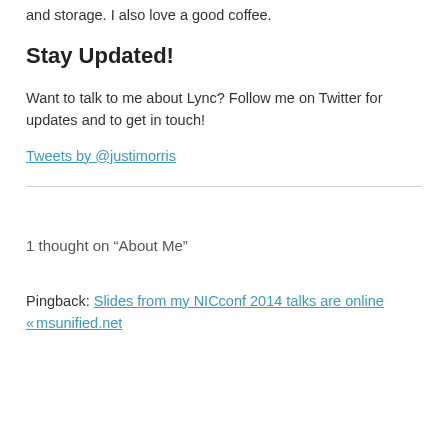and storage. I also love a good coffee.
Stay Updated!
Want to talk to me about Lync? Follow me on Twitter for updates and to get in touch!
Tweets by @justimorris
1 thought on “About Me”
Pingback: Slides from my NICconf 2014 talks are online « msunified.net